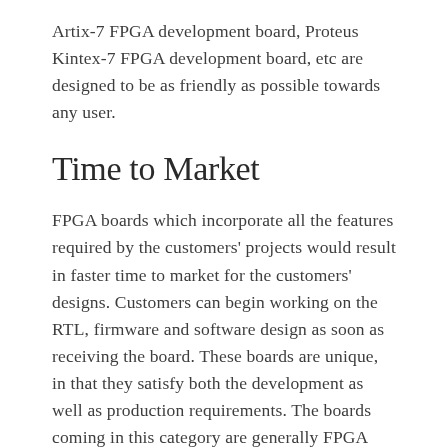Artix-7 FPGA development board, Proteus Kintex-7 FPGA development board, etc are designed to be as friendly as possible towards any user.
Time to Market
FPGA boards which incorporate all the features required by the customers' projects would result in faster time to market for the customers' designs. Customers can begin working on the RTL, firmware and software design as soon as receiving the board. These boards are unique, in that they satisfy both the development as well as production requirements. The boards coming in this category are generally FPGA module form-factor boards such as Neso Artix-7 FPGA module, Narvi Spartan-7 FPGA Module,